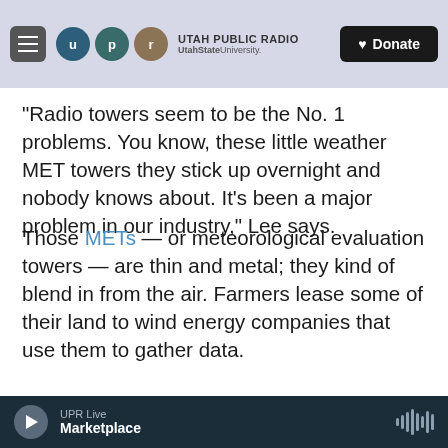UTAH PUBLIC RADIO — UtahState University — Donate
"Radio towers seem to be the No. 1 problems. You know, these little weather MET towers they stick up overnight and nobody knows about. It's been a major problem in our industry," Lee says.
Those METs — or meteorological evaluation towers — are thin and metal; they kind of blend in from the air. Farmers lease some of their land to wind energy companies that use them to gather data.
[Figure (screenshot): YouTube video thumbnail showing 'Pilot can't see unmarked tower! Sa...' with landscape background]
UPR Live — Marketplace